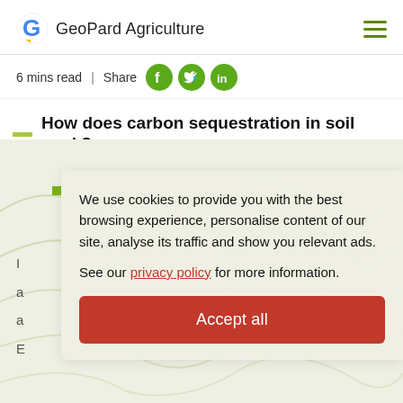GeoPard Agriculture
6 mins read  |  Share
How does carbon sequestration in soil work?
[Figure (screenshot): Cookie consent overlay on GeoPard Agriculture webpage with map background. Overlay text: 'We use cookies to provide you with the best browsing experience, personalise content of our site, analyse its traffic and show you relevant ads. See our privacy policy for more information.' Accept all button in red.]
We use cookies to provide you with the best browsing experience, personalise content of our site, analyse its traffic and show you relevant ads.
See our privacy policy for more information.
Accept all